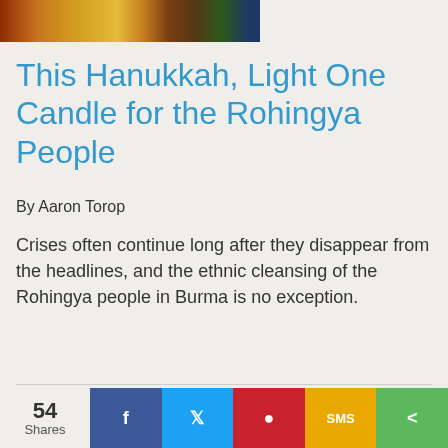[Figure (photo): Partial view of candles or festive lights image strip at top of page]
This Hanukkah, Light One Candle for the Rohingya People
By Aaron Torop
Crises often continue long after they disappear from the headlines, and the ethnic cleansing of the Rohingya people in Burma is no exception.
Galilee Diary: Seasons greetings
By Rabbi Marc J. Rosenstein